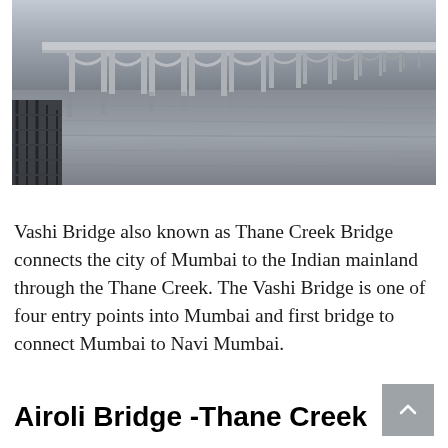[Figure (photo): Photograph of Vashi Bridge (Thane Creek Bridge) showing a long concrete bridge with multiple arched spans over grey water, taken on an overcast day. In the foreground on the left are dark scaffolding or construction elements.]
Vashi Bridge also known as Thane Creek Bridge connects the city of Mumbai to the Indian mainland through the Thane Creek. The Vashi Bridge is one of four entry points into Mumbai and first bridge to connect Mumbai to Navi Mumbai.
Airoli Bridge -Thane Creek